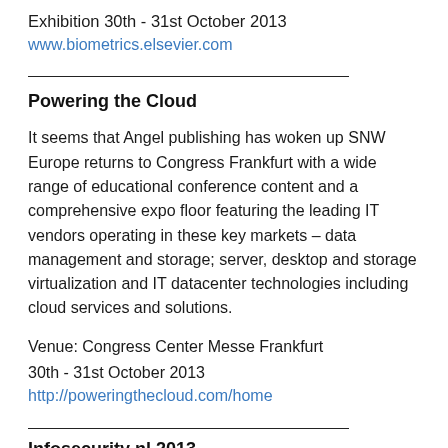Exhibition 30th - 31st October  2013
www.biometrics.elsevier.com
Powering the Cloud
It seems that Angel publishing has woken up SNW Europe returns to Congress Frankfurt with a wide range of educational conference content and a comprehensive expo floor featuring the leading IT vendors operating in these key markets – data management and storage; server, desktop and storage virtualization and IT datacenter technologies including cloud services and solutions.
Venue: Congress Center Messe Frankfurt
30th - 31st October 2013
http://poweringthecloud.com/home
Infosecurity nl 2013